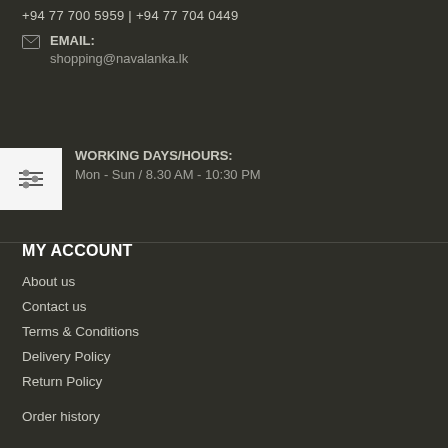+94 77 700 5959 | +94 77 704 0449
EMAIL:
shopping@navalanka.lk
WORKING DAYS/HOURS:
Mon - Sun / 8.30 AM - 10:30 PM
MY ACCOUNT
About us
Contact us
Terms & Conditions
Delivery Policy
Return Policy
Order history